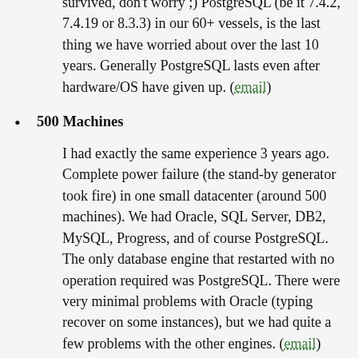survived, don't worry ;) PostgreSQL (be it 7.4.2, 7.4.19 or 8.3.3) in our 60+ vessels, is the last thing we have worried about over the last 10 years. Generally PostgreSQL lasts even after hardware/OS have given up. (email)
500 Machines
I had exactly the same experience 3 years ago. Complete power failure (the stand-by generator took fire) in one small datacenter (around 500 machines). We had Oracle, SQL Server, DB2, MySQL, Progress, and of course PostgreSQL. The only database engine that restarted with no operation required was PostgreSQL. There were very minimal problems with Oracle (typing recover on some instances), but we had quite a few problems with the other engines. (email)
Thousands